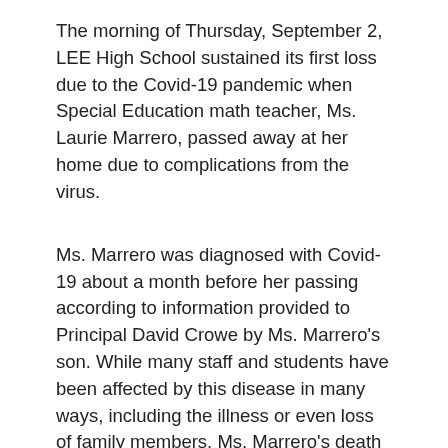The morning of Thursday, September 2, LEE High School sustained its first loss due to the Covid-19 pandemic when Special Education math teacher, Ms. Laurie Marrero, passed away at her home due to complications from the virus.
Ms. Marrero was diagnosed with Covid-19 about a month before her passing according to information provided to Principal David Crowe by Ms. Marrero's son. While many staff and students have been affected by this disease in many ways, including the illness or even loss of family members, Ms. Marrero's death marks the first loss of the LEE/ISA campus community.
Ms. Marrero was an extremely diverse and dedicated educator who taught for 32 years across many subjects